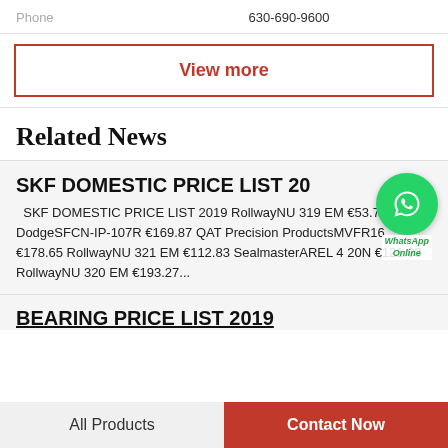Phone   630-690-9600
View more
Related News
SKF DOMESTIC PRICE LIST 2019
SKF DOMESTIC PRICE LIST 2019 RollwayNU 319 EM €53.73 DodgeSFCN-IP-107R €169.87 QAT Precision ProductsMVFR16 €178.65 RollwayNU 321 EM €112.83 SealmasterAREL 4 20N €121.93 RollwayNU 320 EM €193.27...
[Figure (logo): WhatsApp green circle icon with phone handset in white, with 'WhatsApp Online' text label below]
BEARING PRICE LIST 2019